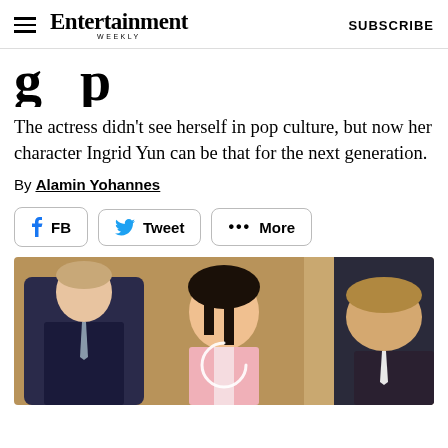Entertainment Weekly — SUBSCRIBE
…g…p…
The actress didn't see herself in pop culture, but now her character Ingrid Yun can be that for the next generation.
By Alamin Yohannes
[Figure (infographic): Social share buttons: FB, Tweet, More]
[Figure (photo): TV show scene with three people: a young man in a dark suit on the left, an Asian woman in a pink blazer in the center looking toward the camera, and another man on the right. A loading circle spinner is visible over the center figure.]